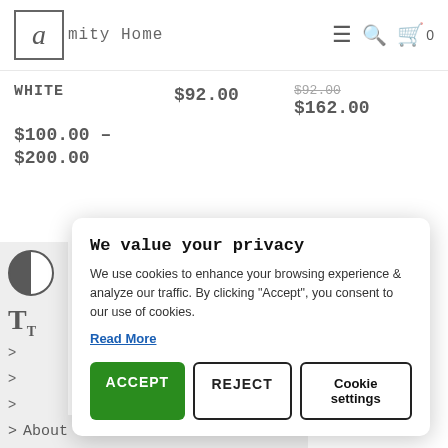Amity Home — navigation header with hamburger menu, search icon, and cart (0)
WHITE   $92.00   $162.00
$100.00 – $200.00
We value your privacy
We use cookies to enhance your browsing experience & analyze our traffic. By clicking "Accept", you consent to our use of cookies.
Read More
ACCEPT   REJECT   Cookie settings
> About Us